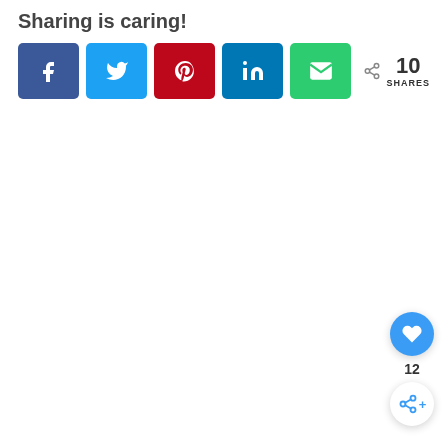Sharing is caring!
[Figure (infographic): Social sharing bar with Facebook (dark blue), Twitter (light blue), Pinterest (red), LinkedIn (dark teal), and Email (green) buttons, followed by a share icon and '10 SHARES' count.]
[Figure (infographic): Floating action buttons at bottom right: a blue circular heart/like button, '12' count text, and a white circular share button with share icon.]